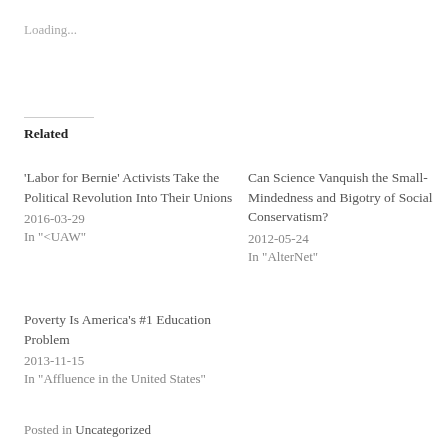Loading...
Related
'Labor for Bernie' Activists Take the Political Revolution Into Their Unions
2016-03-29
In "<UAW"
Can Science Vanquish the Small-Mindedness and Bigotry of Social Conservatism?
2012-05-24
In "AlterNet"
Poverty Is America's #1 Education Problem
2013-11-15
In "Affluence in the United States"
Posted in Uncategorized